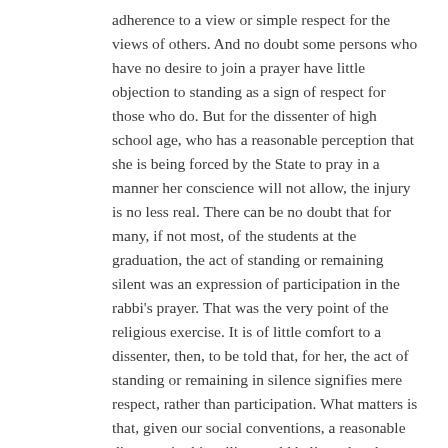adherence to a view or simple respect for the views of others. And no doubt some persons who have no desire to join a prayer have little objection to standing as a sign of respect for those who do. But for the dissenter of high school age, who has a reasonable perception that she is being forced by the State to pray in a manner her conscience will not allow, the injury is no less real. There can be no doubt that for many, if not most, of the students at the graduation, the act of standing or remaining silent was an expression of participation in the rabbi's prayer. That was the very point of the religious exercise. It is of little comfort to a dissenter, then, to be told that, for her, the act of standing or remaining in silence signifies mere respect, rather than participation. What matters is that, given our social conventions, a reasonable dissenter in this milieu could believe that the group exercise signified her own participation or approval of it.
Finding no violation under these circumstances